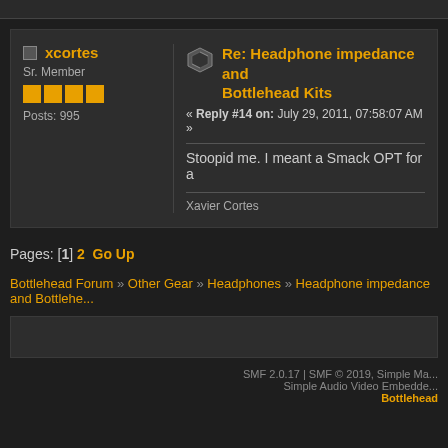xcortes
Sr. Member
Posts: 995
Re: Headphone impedance and Bottlehead Kits
« Reply #14 on: July 29, 2011, 07:58:07 AM »
Stoopid me. I meant a Smack OPT for a
Xavier Cortes
Pages: [1] 2  Go Up
Bottlehead Forum » Other Gear » Headphones » Headphone impedance and Bottlehe...
SMF 2.0.17 | SMF © 2019, Simple Ma... Simple Audio Video Embedde... Bottlehead